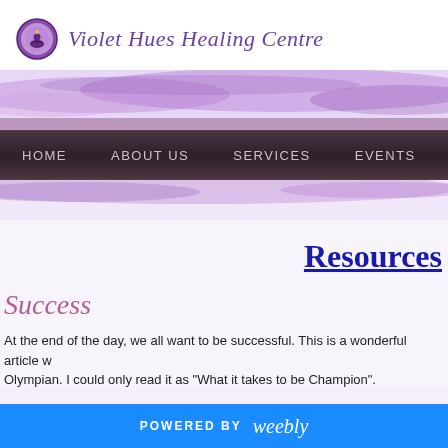[Figure (logo): Violet Hues Healing Centre logo with circular purple emblem showing a meditative figure, and italic script text reading 'Violet Hues Healing Centre']
[Figure (illustration): Decorative purple watercolor-style wave band spanning the full width of the page]
HOME   ABOUT US   SERVICES   EVENTS   ABOU
[Figure (illustration): Bottom decorative purple wave band below the navigation bar]
Resources
Success
At the end of the day, we all want to be successful. This is a wonderful article w Olympian. I could only read it as "What it takes to be Champion".
POWERED BY weebly